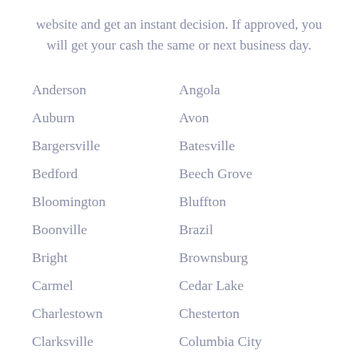website and get an instant decision. If approved, you will get your cash the same or next business day.
Anderson
Angola
Auburn
Avon
Bargersville
Batesville
Bedford
Beech Grove
Bloomington
Bluffton
Boonville
Brazil
Bright
Brownsburg
Carmel
Cedar Lake
Charlestown
Chesterton
Clarksville
Columbia City
Columbus
Connersville